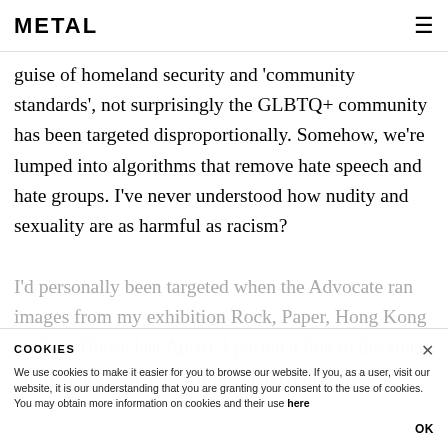METAL
guise of homeland security and 'community standards', not surprisingly the GLBTQ+ community has been targeted disproportionally. Somehow, we're lumped into algorithms that remove hate speech and hate groups. I've never understood how nudity and sexuality are as harmful as racism?

I'd personally been targeted when the Advocate ran images from my exhibition Rock, Paper, Hong Kong (at Tom House last April). I posted a link to the story on my Facebook page. Immediately, they took
COOKIES
We use cookies to make it easier for you to browse our website. If you, as a user, visit our website, it is our understanding that you are granting your consent to the use of cookies. You may obtain more information on cookies and their use here
OK